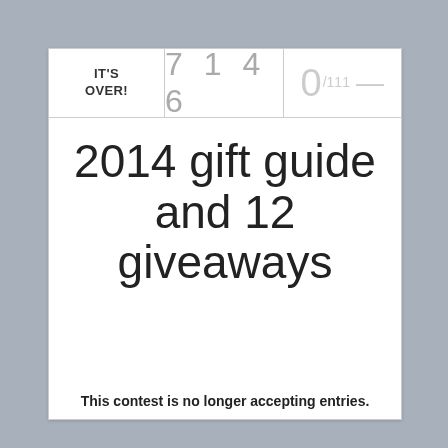IT'S OVER! | 7 1 4 6 | 0/111 —
2014 gift guide and 12 giveaways
This contest is no longer accepting entries.